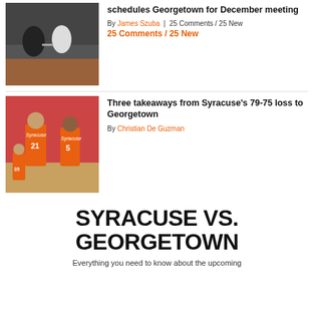[Figure (photo): Two men shaking hands on a basketball court with crowd in background]
schedules Georgetown for December meeting
By James Szuba | 25 Comments / 25 New
25 Comments / 25 New
[Figure (photo): Syracuse basketball players in orange uniforms, numbers 21 and 5, on court]
Three takeaways from Syracuse's 79-75 loss to Georgetown
By Christian De Guzman
SYRACUSE VS. GEORGETOWN
Everything you need to know about the upcoming